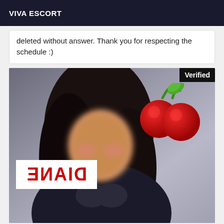VIVA ESCORT
deleted without answer. Thank you for respecting the schedule :)
[Figure (photo): Photo of a woman with blurred face, long dark hair, wearing a black top. A cherry logo/emoji is overlaid in the upper right. A mirrored 'DIANE' watermark appears in the lower left. A 'Verified' badge appears in the top right corner.]